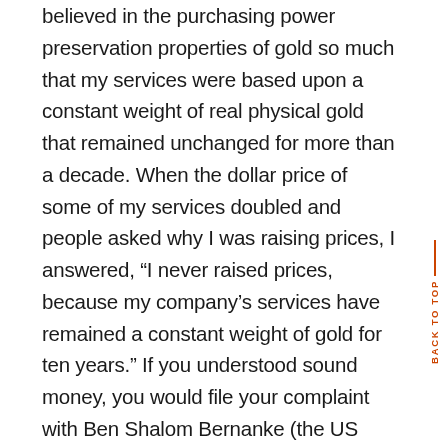believed in the purchasing power preservation properties of gold so much that my services were based upon a constant weight of real physical gold that remained unchanged for more than a decade. When the dollar price of some of my services doubled and people asked why I was raising prices, I answered, “I never raised prices, because my company’s services have remained a constant weight of gold for ten years.” If you understood sound money, you would file your complaint with Ben Shalom Bernanke (the US Central Bank chairman at the time) because he destroyed the US dollar’s purchasing power relative to gold weight and is the culprit responsible for the rising prices of my company’s services, not me. Furthermore, you may recall that